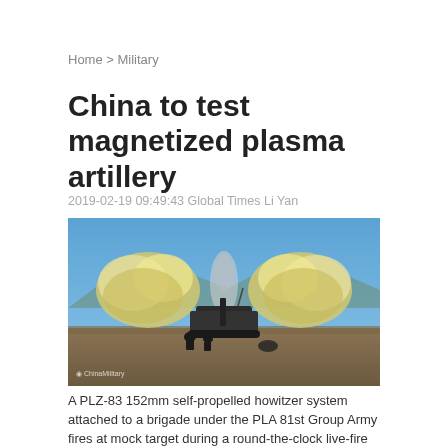Home > Military
China to test magnetized plasma artillery
2019-02-19 09:49:43 Global Times Li Yan
[Figure (photo): A PLZ-83 152mm self-propelled howitzer firing, with large yellow-white smoke clouds billowing from both sides. Soldiers visible in foreground. China Military watermark in lower left.]
A PLZ-83 152mm self-propelled howitzer system attached to a brigade under the PLA 81st Group Army fires at mock target during a round-the-clock live-fire training exercise at an